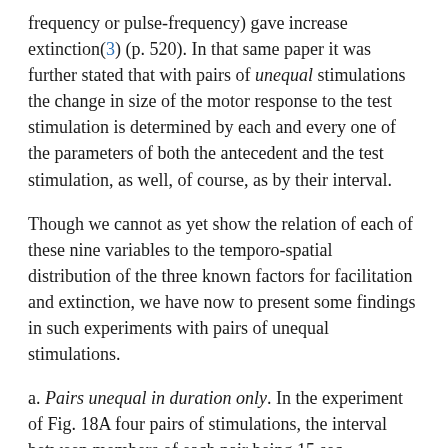frequency or pulse-frequency) gave increase extinction(3) (p. 520). In that same paper it was further stated that with pairs of unequal stimulations the change in size of the motor response to the test stimulation is determined by each and every one of the parameters of both the antecedent and the test stimulation, as well, of course, as by their interval.
Though we cannot as yet show the relation of each of these nine variables to the temporo-spatial distribution of the three known factors for facilitation and extinction, we have now to present some findings in such experiments with pairs of unequal stimulations.
a. Pairs unequal in duration only. In the experiment of Fig. 18A four pairs of stimulations, the interval between members of each pair being 15 sec.,